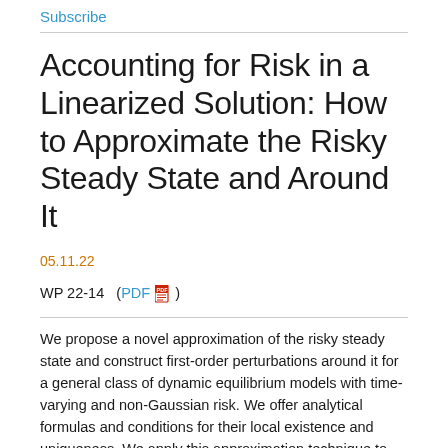Subscribe
Accounting for Risk in a Linearized Solution: How to Approximate the Risky Steady State and Around It
05.11.22
WP 22-14  (PDF)
We propose a novel approximation of the risky steady state and construct first-order perturbations around it for a general class of dynamic equilibrium models with time-varying and non-Gaussian risk. We offer analytical formulas and conditions for their local existence and uniqueness. We apply this approximation technique to models featuring Campbell-Cochrane habits, recursive preferences, and time-varying disaster risk, and show how the proposed approximation represents the implications of the model similarly to